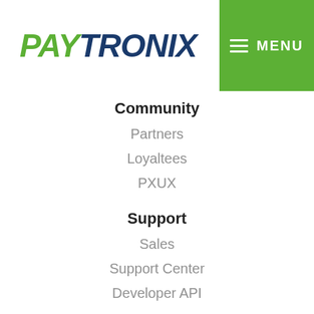PAYTRONIX | MENU
Community
Partners
Loyaltees
PXUX
Support
Sales
Support Center
Developer API
SIGN UP TO GET THE LATEST